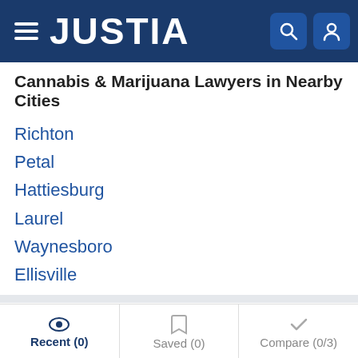JUSTIA
Cannabis & Marijuana Lawyers in Nearby Cities
Richton
Petal
Hattiesburg
Laurel
Waynesboro
Ellisville
FAQ
Lawyers Get Listed
Related Practice Areas
Recent (0)   Saved (0)   Compare (0/3)